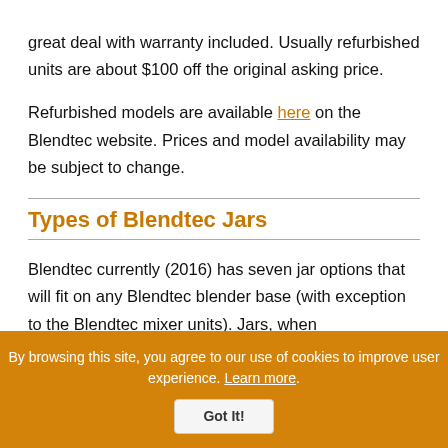great deal with warranty included. Usually refurbished units are about $100 off the original asking price.
Refurbished models are available here on the Blendtec website. Prices and model availability may be subject to change.
Types of Blendtec Jars
Blendtec currently (2016) has seven jar options that will fit on any Blendtec blender base (with exception to the Blendtec mixer units). Jars, when
By browsing this site, you agree to our use of cookies to improve user experience. Learn more.
Got It!